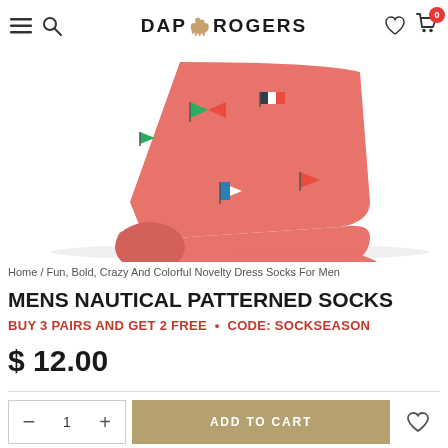DAP ROGERS
[Figure (photo): Pink/coral knit sock with nautical signal flag pattern, shown from the side on a white background]
Home / Fun, Bold, Crazy And Colorful Novelty Dress Socks For Men
MENS NAUTICAL PATTERNED SOCKS
BUY 3 PAIRS AND GET 2 FREE • CODE: SOCKSEASON
$ 12.00
— 1 + ADD TO CART ♡